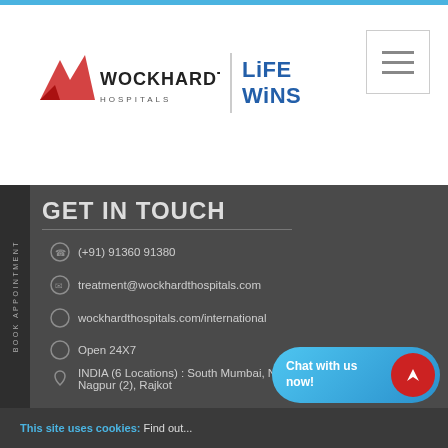[Figure (logo): Wockhardt Hospitals logo with red bird/wing icon and text 'WOCKHARDT HOSPITALS' alongside 'LiFE WiNS' in blue bold text]
GET IN TOUCH
(+91) 91360 91380
treatment@wockhardthospitals.com
wockhardthospitals.com/international
Open 24X7
INDIA (6 Locations) : South Mumbai, North Mumbai, Nashik, Nagpur (2), Rajkot
This site uses cookies: Find out...
[Figure (other): Chat with us now! button with blue rounded background and red circle icon]